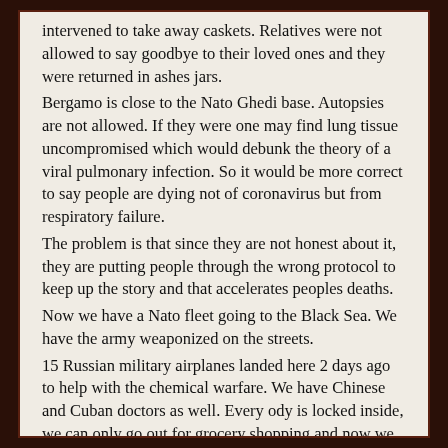intervened to take away caskets. Relatives were not allowed to say goodbye to their loved ones and they were returned in ashes jars. Bergamo is close to the Nato Ghedi base. Autopsies are not allowed. If they were one may find lung tissue uncompromised which would debunk the theory of a viral pulmonary infection. So it would be more correct to say people are dying not of coronavirus but from respiratory failure. The problem is that since they are not honest about it, they are putting people through the wrong protocol to keep up the story and that accelerates peoples deaths. Now we have a Nato fleet going to the Black Sea. We have the army weaponized on the streets. 15 Russian military airplanes landed here 2 days ago to help with the chemical warfare. We have Chinese and Cuban doctors as well. Every ody is locked inside, we can only go out for grocery shopping and now we can be